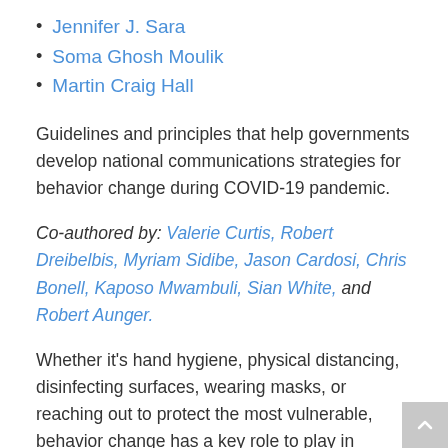Jennifer J. Sara
Soma Ghosh Moulik
Martin Craig Hall
Guidelines and principles that help governments develop national communications strategies for behavior change during COVID-19 pandemic.
Co-authored by: Valerie Curtis, Robert Dreibelbis, Myriam Sidibe, Jason Cardosi, Chris Bonell, Kaposo Mwambuli, Sian White, and Robert Aunger.
Whether it’s hand hygiene, physical distancing, disinfecting surfaces, wearing masks, or reaching out to protect the most vulnerable, behavior change has a key role to play in tackling the COVID-19 (coronavirus) pandemic. That’s why a new brief from the World Bank, London School of Hygiene & Tropical Medicine, Harvard Kennedy School and Project Clear provides